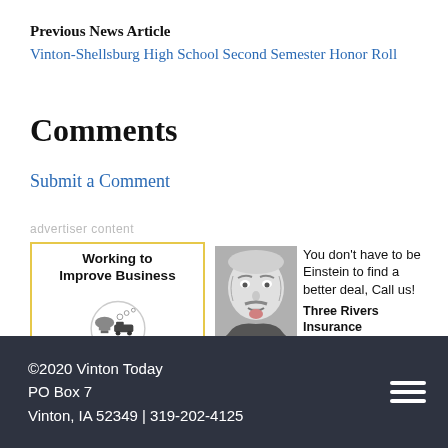Previous News Article
Vinton-Shellsburg High School Second Semester Honor Roll
Comments
Submit a Comment
advertiser content
[Figure (logo): Vinton Working to Improve Business advertisement with logo showing a capitol building and train inside a circle with 'VINTON' text in gold letters]
[Figure (illustration): Three Rivers Insurance advertisement with Einstein photo and text: 'You don't have to be Einstein to find a better deal, Call us! Three Rivers Insurance']
©2020 Vinton Today
PO Box 7
Vinton, IA 52349 | 319-202-4125